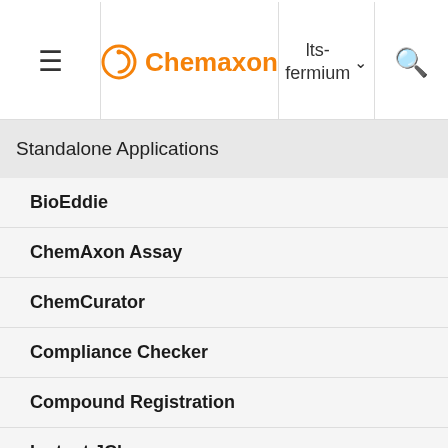Chemaxon — lts-fermium
Standalone Applications
BioEddie
ChemAxon Assay
ChemCurator
Compliance Checker
Compound Registration
Instant JChem
Markush Editor
Design Hub
groups: Plexus Design then automatically recognizes the number of R-groups: the scaffo...